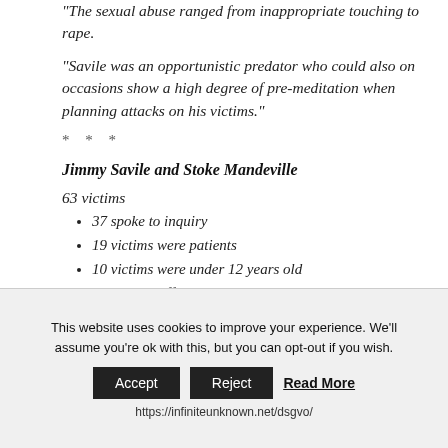"The sexual abuse ranged from inappropriate touching to rape.
"Savile was an opportunistic predator who could also on occasions show a high degree of pre-meditation when planning attacks on his victims."
* * *
Jimmy Savile and Stoke Mandeville
63 victims
37 spoke to inquiry
19 victims were patients
10 victims were under 12 years old
1 made an official complaint
This website uses cookies to improve your experience. We'll assume you're ok with this, but you can opt-out if you wish.
https://infiniteunknown.net/dsgvo/